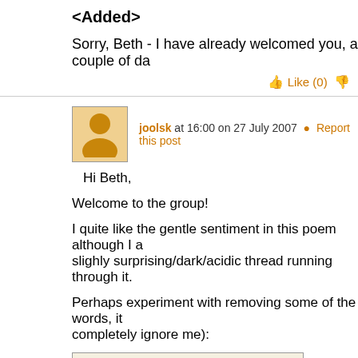<Added>
Sorry, Beth - I have already welcomed you, a couple of da
Like (0)
joolsk at 16:00 on 27 July 2007 • Report this post
Hi Beth,
Welcome to the group!
I quite like the gentle sentiment in this poem although I a slighly surprising/dark/acidic thread running through it.
Perhaps experiment with removing some of the words, it completely ignore me):
Autumn wind blows
and leaves fall from trees